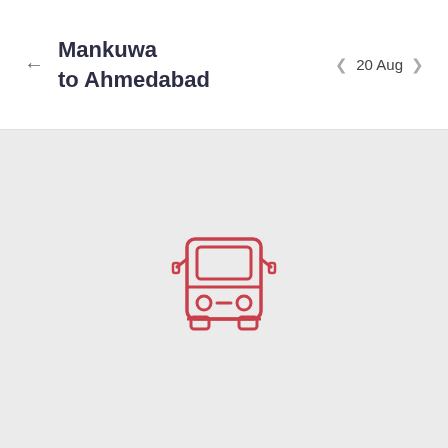Mankuwa to Ahmedabad
20 Aug
[Figure (illustration): Bus icon — front-facing red outline illustration of a bus with windows, headlights, and wheels]